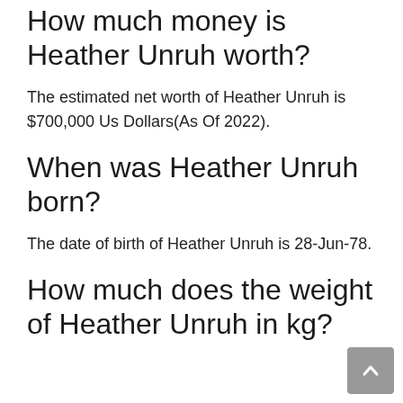How much money is Heather Unruh worth?
The estimated net worth of Heather Unruh is $700,000 Us Dollars(As Of 2022).
When was Heather Unruh born?
The date of birth of Heather Unruh is 28-Jun-78.
How much does the weight of Heather Unruh in kg?